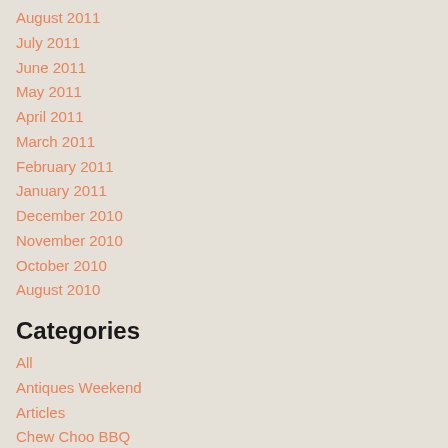August 2011
July 2011
June 2011
May 2011
April 2011
March 2011
February 2011
January 2011
December 2010
November 2010
October 2010
August 2010
Categories
All
Antiques Weekend
Articles
Chew Choo BBQ
Donations
Education
Events
Fundraising